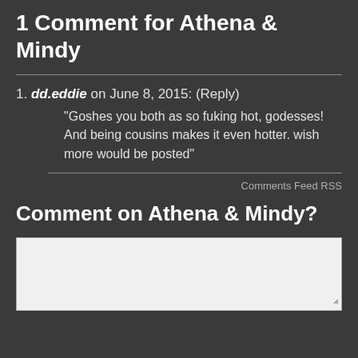1 Comment for Athena & Mindy
dd.eddie on June 8, 2015: (Reply) “Goshes you both as so fuking hot, godesses! And being cousins makes it even hotter. wish more would be posted”
Comments Feed RSS
Comment on Athena & Mindy?